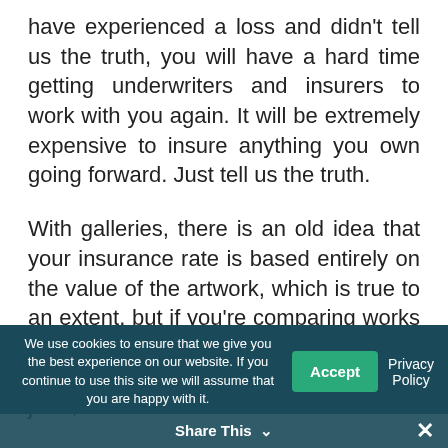have experienced a loss and didn't tell us the truth, you will have a hard time getting underwriters and insurers to work with you again. It will be extremely expensive to insure anything you own going forward. Just tell us the truth.
With galleries, there is an old idea that your insurance rate is based entirely on the value of the artwork, which is true to an extent, but if you're comparing works that are worth $100,000 and $500,000, the difference in your premium might be just $30.
We use cookies to ensure that we give you the best experience on our website. If you continue to use this site we will assume that you are happy with it.
Share This